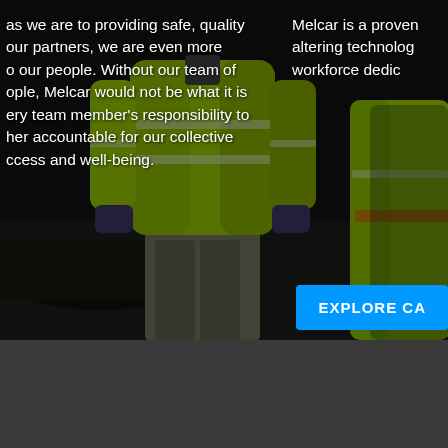[Figure (photo): Two workers in bright neon yellow-green high-visibility safety jackets with reflective silver striping, photographed from behind/side in a dark industrial environment. Left worker is centered, right worker is partially visible on the right edge.]
as we are to providing safe, quality our partners, we are even more o our people. Without our team of ople, Melcar would not be what it is ery team member's responsibility to her accountable for our collective ccess and well-being.
Melcar is a proven altering technolog workforce dedic
EXPLORE CA